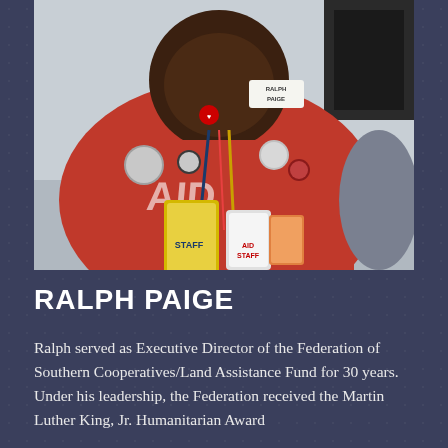[Figure (photo): Portrait photo of Ralph Paige, a large Black man wearing a red t-shirt with 'PAID' text, multiple lanyards and badges around his neck, and various buttons/pins on his shirt. He appears to be at an outdoor event.]
RALPH PAIGE
Ralph served as Executive Director of the Federation of Southern Cooperatives/Land Assistance Fund for 30 years. Under his leadership, the Federation received the Martin Luther King, Jr. Humanitarian Award